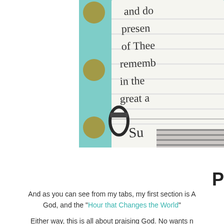[Figure (photo): Photo of a teal/mint colored binder or notebook with gold polka dots, showing a ring binder clip and a lined notecard with handwritten text reading: 'and do presen of Thee rememb in the great a Su']
P
And as you can see from my tabs, my first section is A God, and the "Hour that Changes the World"
Either way, this is all about praising God. No wants n